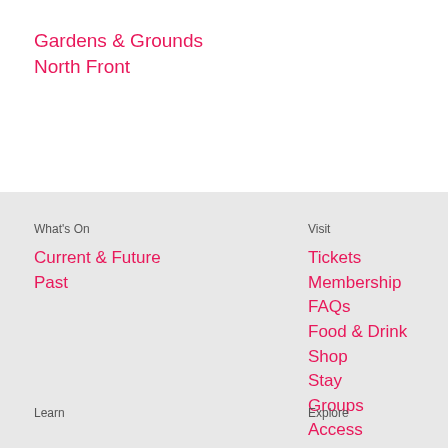Gardens & Grounds
North Front
What's On
Current & Future
Past
Visit
Tickets
Membership
FAQs
Food & Drink
Shop
Stay
Groups
Access
Learn
Explore